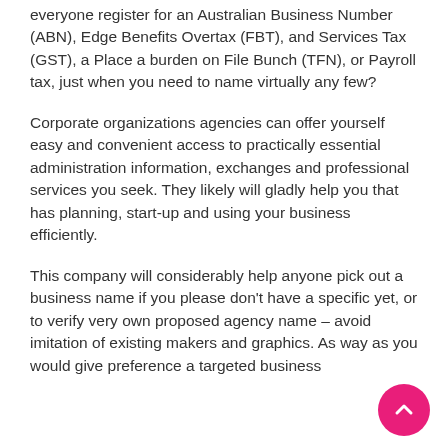everyone register for an Australian Business Number (ABN), Edge Benefits Overtax (FBT), and Services Tax (GST), a Place a burden on File Bunch (TFN), or Payroll tax, just when you need to name virtually any few?
Corporate organizations agencies can offer yourself easy and convenient access to practically essential administration information, exchanges and professional services you seek. They likely will gladly help you that has planning, start-up and using your business efficiently.
This company will considerably help anyone pick out a business name if you please don't have a specific yet, or to verify very own proposed agency name – avoid imitation of existing makers and graphics. As way as you would give preference a targeted business